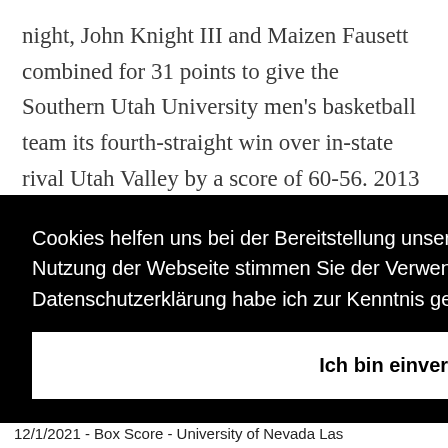night, John Knight III and Maizen Fausett combined for 31 points to give the Southern Utah University men's basketball team its fourth-straight win over in-state rival Utah Valley by a score of 60-56. 2013 Utah State Football Schedule; 2012 Utah State Football
Cookies helfen uns bei der Bereitstellung unserer Inhalte und Dienste. Durch die weitere Nutzung der Webseite stimmen Sie der Verwendung von Cookies zu. Die Datenschutzerklärung habe ich zur Kenntnis genommen.  Datenschutzerklärung
Ich bin einverstanden
12/1/2021 - Box Score - University of Nevada Las